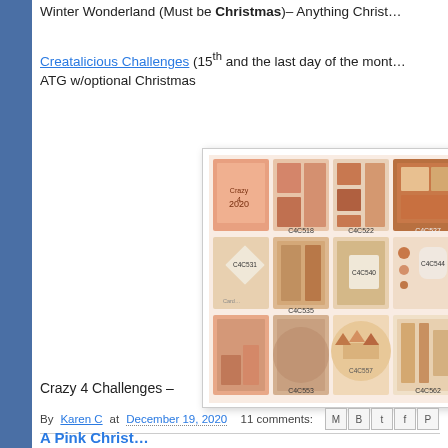Winter Wonderland (Must be Christmas)– Anything Christ…
Creatalicious Challenges (15th and the last day of the month) – ATG w/optional Christmas
[Figure (illustration): Grid of Crazy 4 Challenges card sketches showing layout templates labeled C4C518, C4C522, C4C527, C4C531, C4C535, C4C540, C4C544, C4C548, C4C553, C4C557, C4C562 and a 2020 label card, all in coral/brown/peach tones]
Crazy 4 Challenges –
By Karen C at December 19, 2020   11 comments:
A Pink Christ…